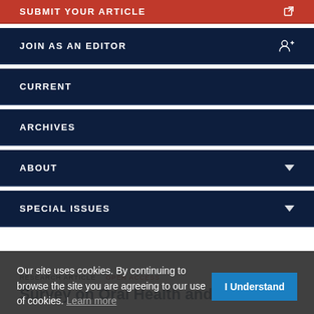SUBMIT YOUR ARTICLE
JOIN AS AN EDITOR
CURRENT
ARCHIVES
ABOUT
SPECIAL ISSUES
RESEARCH ARTICLE   OPEN ACCESS
Survey on Oral Health and History of Muscle Inj...
Our site uses cookies. By continuing to browse the site you are agreeing to our use of cookies. Learn more